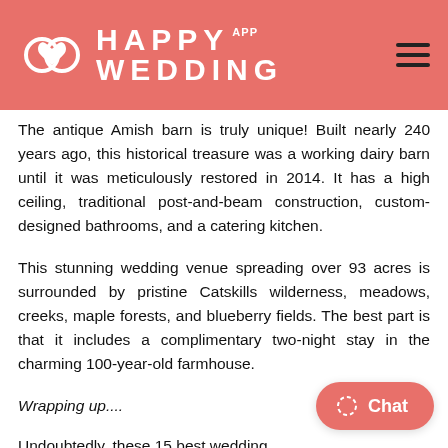HAPPY WEDDING APP
The antique Amish barn is truly unique! Built nearly 240 years ago, this historical treasure was a working dairy barn until it was meticulously restored in 2014. It has a high ceiling, traditional post-and-beam construction, custom-designed bathrooms, and a catering kitchen.
This stunning wedding venue spreading over 93 acres is surrounded by pristine Catskills wilderness, meadows, creeks, maple forests, and blueberry fields. The best part is that it includes a complimentary two-night stay in the charming 100-year-old farmhouse.
Wrapping up....
Undoubtedly, these 15 best wedding venues in the United States will allow you to host an unforgettable